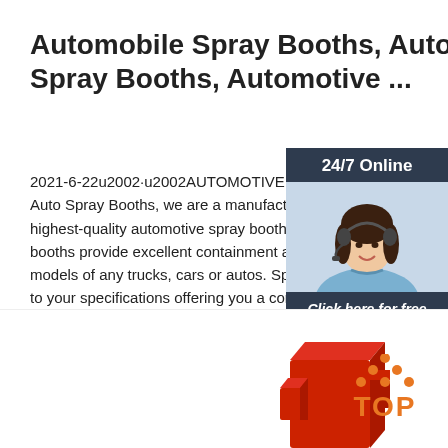Automobile Spray Booths, Auto Spray Booths, Automotive ...
2021-6-22u2002·u2002AUTOMOTIVE SPRAY Auto Spray Booths, we are a manufacturer of highest-quality automotive spray booths, the booths provide excellent containment and coverage of models of any trucks, cars or autos. Spray booths built to your specifications offering you a complete built automobile spray booths.
[Figure (photo): Customer service representative woman with headset, shown in sidebar widget with '24/7 Online' header, 'Click here for free chat!' text and orange QUOTATION button]
Get Price
[Figure (illustration): Red 3D puzzle piece or block shape in lower center of page]
[Figure (logo): TOP logo with orange dots arranged in triangle above orange TOP text]